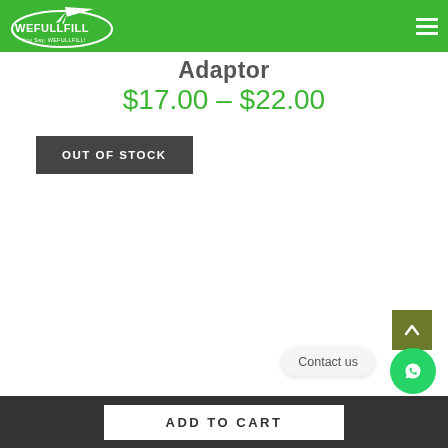WeFullFill — navigation header with logo and hamburger menu
Adaptor
$17.00 – $22.00
OUT OF STOCK
Contact us
ADD TO CART